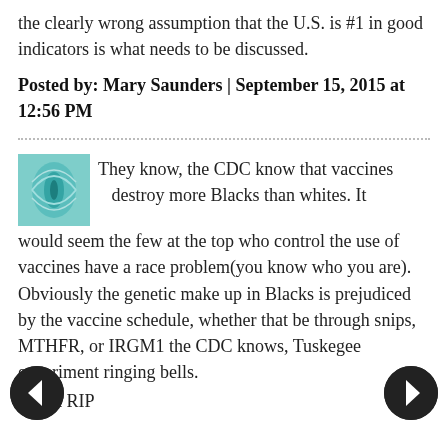the clearly wrong assumption that the U.S. is #1 in good indicators is what needs to be discussed.
Posted by: Mary Saunders | September 15, 2015 at 12:56 PM
They know, the CDC know that vaccines destroy more Blacks than whites. It would seem the few at the top who control the use of vaccines have a race problem(you know who you are). Obviously the genetic make up in Blacks is prejudiced by the vaccine schedule, whether that be through snips, MTHFR, or IRGM1 the CDC knows, Tuskegee experiment ringing bells.
MMR RIP